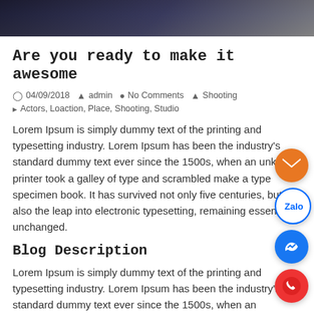[Figure (photo): Dark hero/banner image at the top of a blog post, showing a dark blurred background scene]
Are you ready to make it awesome
04/09/2018   admin   No Comments   Shooting
Actors, Loaction, Place, Shooting, Studio
Lorem Ipsum is simply dummy text of the printing and typesetting industry. Lorem Ipsum has been the industry's standard dummy text ever since the 1500s, when an unknown printer took a galley of type and scrambled make a type specimen book. It has survived not only five centuries, but also the leap into electronic typesetting, remaining essentially unchanged.
Blog Description
Lorem Ipsum is simply dummy text of the printing and typesetting industry. Lorem Ipsum has been the industry's standard dummy text ever since the 1500s, when an